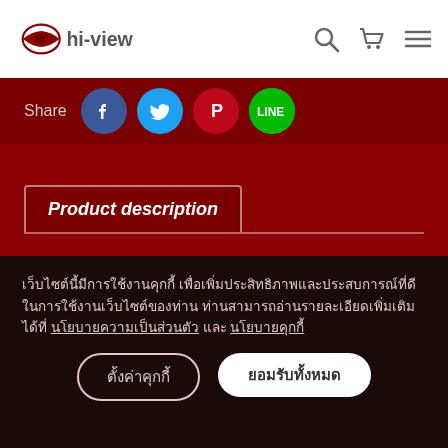hi-view
Share
Product description
เว็บไซต์นี้มีการใช้งานคุกกี้ เพื่อเพิ่มประสิทธิภาพและประสบการณ์ที่ดีในการใช้งานเว็บไซต์ของท่าน ท่านสามารถอ่านรายละเอียดเพิ่มเติมได้ที่ นโยบายความเป็นส่วนตัว และ นโยบายคุกกี้
ตั้งค่าคุกกี้
ยอมรับทั้งหมด